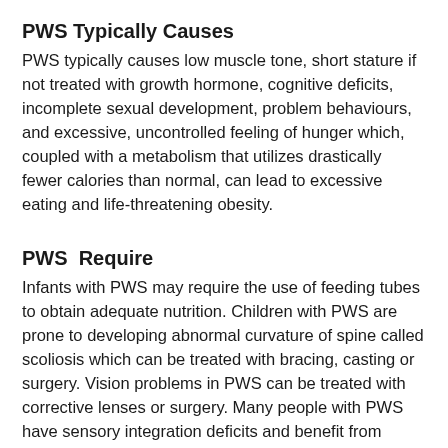PWS Typically Causes
PWS typically causes low muscle tone, short stature if not treated with growth hormone, cognitive deficits, incomplete sexual development, problem behaviours, and excessive, uncontrolled feeling of hunger which, coupled with a metabolism that utilizes drastically fewer calories than normal, can lead to excessive eating and life-threatening obesity.
PWS  Require
Infants with PWS may require the use of feeding tubes to obtain adequate nutrition. Children with PWS are prone to developing abnormal curvature of spine called scoliosis which can be treated with bracing, casting or surgery. Vision problems in PWS can be treated with corrective lenses or surgery. Many people with PWS have sensory integration deficits and benefit from sensory integration programs. They have decreased pain signals which masks injuries and illnesses. Individuals with PWS have anxiety, obsessive compulsive behaviour, temper outbursts lack of impulse